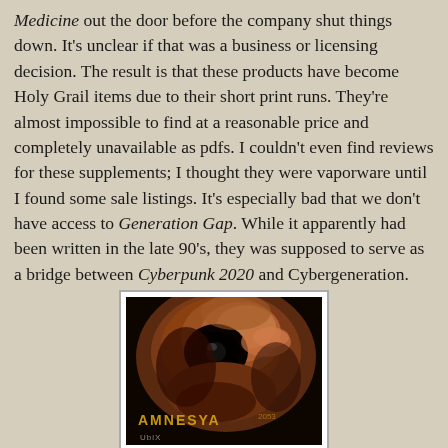Medicine out the door before the company shut things down. It's unclear if that was a business or licensing decision. The result is that these products have become Holy Grail items due to their short print runs. They're almost impossible to find at a reasonable price and completely unavailable as pdfs. I couldn't even find reviews for these supplements; I thought they were vaporware until I found some sale listings. It's especially bad that we don't have access to Generation Gap. While it apparently had been written in the late 90's, they was supposed to serve as a bridge between Cyberpunk 2020 and Cybergeneration.
[Figure (photo): Book cover of 'AMNESYA' showing a dark, reddish close-up of a distorted skull-like face with a large eye socket visible. The title 'AMNESYA' appears at the bottom in gold letters, with small text below it and 'UbiX' publisher name.]